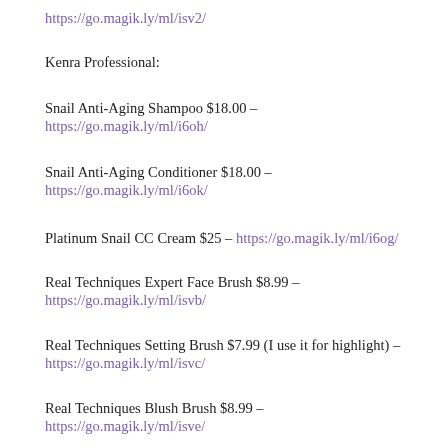https://go.magik.ly/ml/isv2/
Kenra Professional:
Snail Anti-Aging Shampoo $18.00 –
https://go.magik.ly/ml/i6oh/
Snail Anti-Aging Conditioner $18.00 –
https://go.magik.ly/ml/i6ok/
Platinum Snail CC Cream $25 – https://go.magik.ly/ml/i6og/
Real Techniques Expert Face Brush $8.99 –
https://go.magik.ly/ml/isvb/
Real Techniques Setting Brush $7.99 (I use it for highlight) –
https://go.magik.ly/ml/isvc/
Real Techniques Blush Brush $8.99 –
https://go.magik.ly/ml/isve/